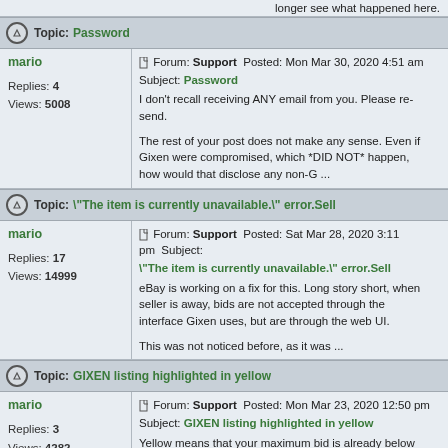longer see what happened here.
Topic: Password
mario
Replies: 4
Views: 5008
Forum: Support  Posted: Mon Mar 30, 2020 4:51 am  Subject: Password
I don't recall receiving ANY email from you. Please resend.

The rest of your post does not make any sense. Even if Gixen were compromised, which *DID NOT* happen, how would that disclose any non-G ...
Topic: "The item is currently unavailable." error.Sell
mario
Replies: 17
Views: 14999
Forum: Support  Posted: Sat Mar 28, 2020 3:11 pm  Subject: "The item is currently unavailable." error.Sell
eBay is working on a fix for this. Long story short, when seller is away, bids are not accepted through the interface Gixen uses, but are through the web UI.

This was not noticed before, as it was ...
Topic: GIXEN listing highlighted in yellow
mario
Replies: 3
Views: 4282
Forum: Support  Posted: Mon Mar 23, 2020 12:50 pm  Subject: GIXEN listing highlighted in yellow
Yellow means that your maximum bid is already below current high bid. What is the item id?
Topic: Mirror Subscription
mario
Replies: 2
Views: 3784
Forum: Support  Posted: Wed Mar 18, 2020 6:00 am  Subject: Mirror Subscription
Paul,

I responded to your email - you have multiple usernames.